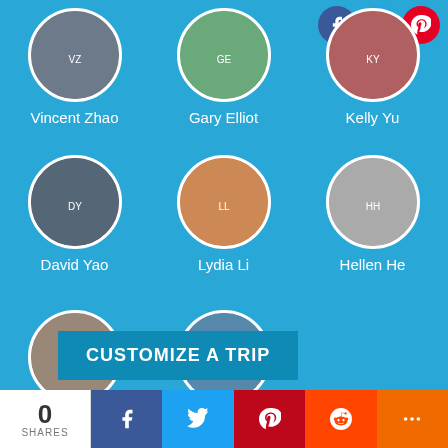[Figure (illustration): Profile photos in circular frames for Vincent Zhao, Gary Elliot, Kelly Yu arranged in first row on blue background]
Vincent Zhao
Gary Elliot
Kelly Yu
[Figure (illustration): Profile photos in circular frames for David Yao, Lydia Li, Hellen He arranged in second row]
David Yao
Lydia Li
Hellen He
[Figure (illustration): Profile photos in circular frames for Cindy Cao, Charlie Lee arranged in third row]
Cindy Cao
Charlie Lee
CUSTOMIZE A TRIP
0
SHARES